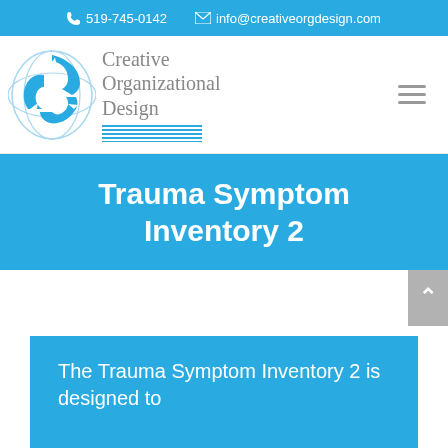519-745-0142  info@creativeorgdesign.com
[Figure (logo): Creative Organizational Design logo — circular blue arrow emblem with company name in serif gray text and horizontal lines decoration]
Trauma Symptom Inventory 2
The Trauma Symptom Inventory 2 is designed to